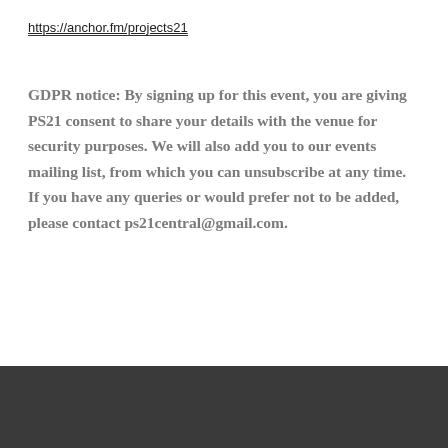https://anchor.fm/projects21
GDPR notice: By signing up for this event, you are giving PS21 consent to share your details with the venue for security purposes. We will also add you to our events mailing list, from which you can unsubscribe at any time. If you have any queries or would prefer not to be added, please contact ps21central@gmail.com.